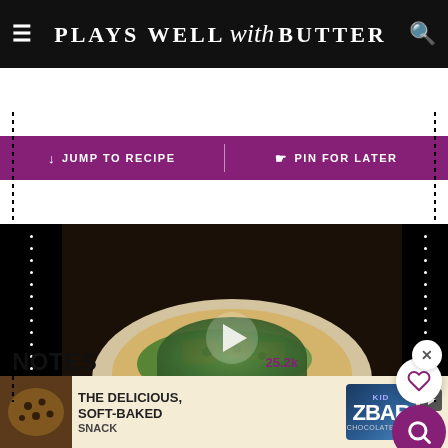PLAYS WELL with BUTTER
↓ JUMP TO RECIPE | 𝗣 PIN FOR LATER
[Figure (screenshot): Video thumbnail showing a taco/tortilla with lettuce and chicken on a plate, with a play button overlay]
NOTES
To char corn tortillas on the stovetop: Pop a tortilla directly over open flame on gas burner. Once you see a little smoke
[Figure (screenshot): Advertisement banner for Clif Kid Z Bar - The Delicious, Soft-Baked Snack]